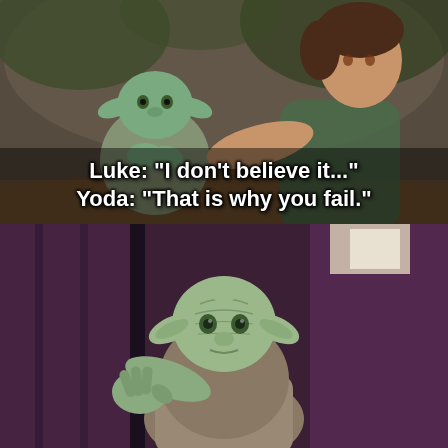[Figure (photo): Top panel: Scene from Star Wars showing Yoda (small green alien) and Luke Skywalker crouching in a forest setting on Dagobah. Earthy tones, misty background.]
Luke: "I don't believe it..."
Yoda: "That is why you fail."
[Figure (photo): Bottom panel: Close-up of Yoda character from Star Wars with one hand raised in a shrugging gesture, purple/magenta background with architectural elements.]